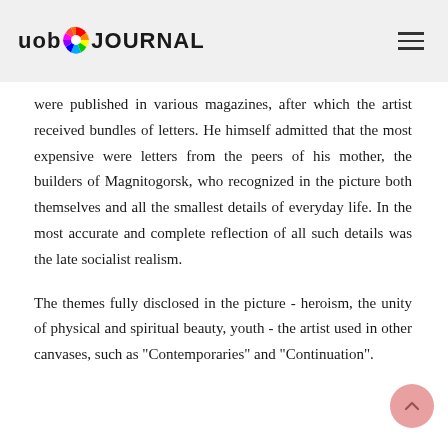uob JOURNAL
were published in various magazines, after which the artist received bundles of letters. He himself admitted that the most expensive were letters from the peers of his mother, the builders of Magnitogorsk, who recognized in the picture both themselves and all the smallest details of everyday life. In the most accurate and complete reflection of all such details was the late socialist realism.
The themes fully disclosed in the picture - heroism, the unity of physical and spiritual beauty, youth - the artist used in other canvases, such as "Contemporaries" and "Continuation".